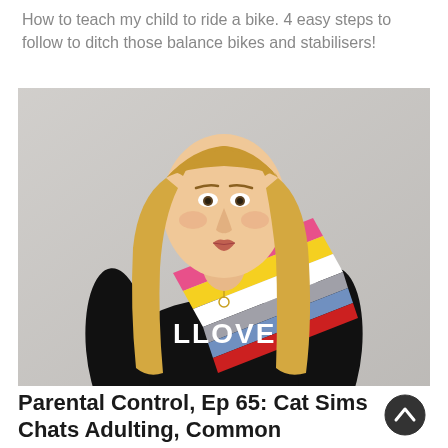How to teach my child to ride a bike. 4 easy steps to follow to ditch those balance bikes and stabilisers!
[Figure (photo): Portrait photo of a blonde woman wearing a black top with 'LLOVE' text and a colorful diagonal stripe pattern in pink, yellow, white, grey, and red, standing against a light grey wall.]
Parental Control, Ep 65: Cat Sims Chats Adulting, Common Misconceptions About